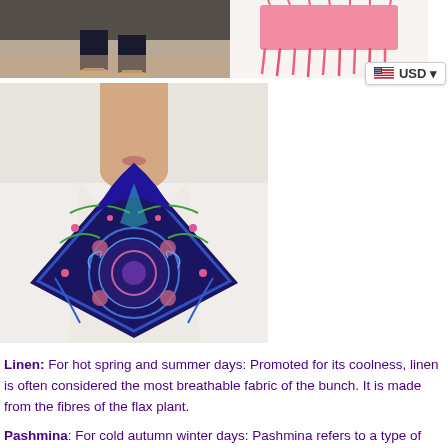[Figure (photo): Top-left photo: feet/legs of a person on a surface, cropped at bottom]
[Figure (photo): Top-right photo: pink/coral fringe scarf on white background]
[Figure (other): USD currency selector badge with US flag icon]
[Figure (photo): Main center photo: person wearing an ornate blue/multicolor paisley patterned square scarf/shawl tied around neck, white blazer]
Linen: For hot spring and summer days: Promoted for its coolness, linen is often considered the most breathable fabric of the bunch. It is made from the fibres of the flax plant.
Pashmina: For cold autumn winter days: Pashmina refers to a type of shawl or scarf made from the cashmere wool of the